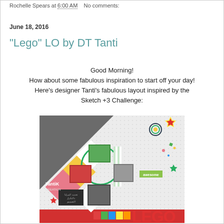Rochelle Spears at 6:00 AM   No comments:
June 18, 2016
"Lego" LO by DT Tanti
Good Morning!
How about some fabulous inspiration to start off your day!
Here's designer Tanti's fabulous layout inspired by the Sketch +3 Challenge:
[Figure (photo): Scrapbook layout titled LEGO by TantiK Creation, featuring photos of children and colorful geometric shapes including diamonds, circles, and stars on a dotted background.]